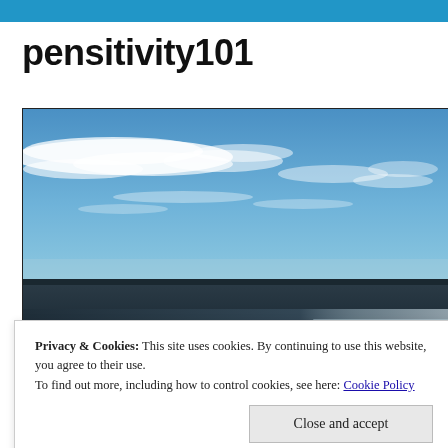pensitivity101
[Figure (photo): Coastal seascape photograph showing a wide ocean view with a flat horizon line, blue sky with scattered white clouds in the upper portion, and dark reflective water in the lower portion with some light shimmer on the right side.]
Privacy & Cookies: This site uses cookies. By continuing to use this website, you agree to their use.
To find out more, including how to control cookies, see here: Cookie Policy
Close and accept
np Run